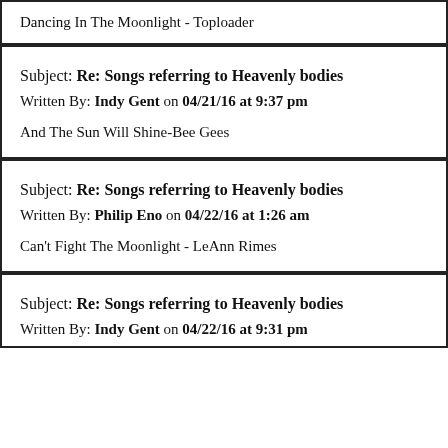Dancing In The Moonlight - Toploader
Subject: Re: Songs referring to Heavenly bodies
Written By: Indy Gent on 04/21/16 at 9:37 pm
And The Sun Will Shine-Bee Gees
Subject: Re: Songs referring to Heavenly bodies
Written By: Philip Eno on 04/22/16 at 1:26 am
Can't Fight The Moonlight - LeAnn Rimes
Subject: Re: Songs referring to Heavenly bodies
Written By: Indy Gent on 04/22/16 at 9:31 pm